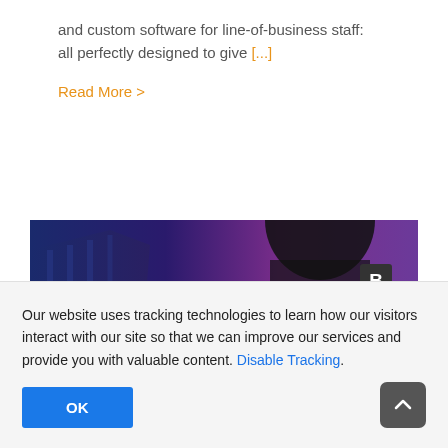and custom software for line-of-business staff: all perfectly designed to give [...]
Read More >
[Figure (photo): Top portion of a banner image showing a person's head and a building with a blue-purple gradient sky background. A bold 'B' logo appears in the top right corner.]
Our website uses tracking technologies to learn how our visitors interact with our site so that we can improve our services and provide you with valuable content. Disable Tracking.
OK